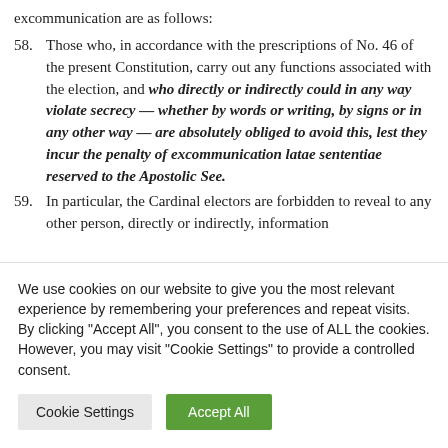excommunication are as follows:
58. Those who, in accordance with the prescriptions of No. 46 of the present Constitution, carry out any functions associated with the election, and who directly or indirectly could in any way violate secrecy — whether by words or writing, by signs or in any other way — are absolutely obliged to avoid this, lest they incur the penalty of excommunication latae sententiae reserved to the Apostolic See.
59. In particular, the Cardinal electors are forbidden to reveal to any other person, directly or indirectly, information
We use cookies on our website to give you the most relevant experience by remembering your preferences and repeat visits. By clicking "Accept All", you consent to the use of ALL the cookies. However, you may visit "Cookie Settings" to provide a controlled consent.
Cookie Settings | Accept All